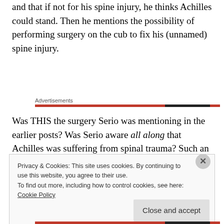and that if not for his spine injury, he thinks Achilles could stand. Then he mentions the possibility of performing surgery on the cub to fix his (unnamed) spine injury.
Advertisements
Was THIS the surgery Serio was mentioning in the earlier posts? Was Serio aware all along that Achilles was suffering from spinal trauma? Such an injury was
Privacy & Cookies: This site uses cookies. By continuing to use this website, you agree to their use.
To find out more, including how to control cookies, see here: Cookie Policy
Close and accept